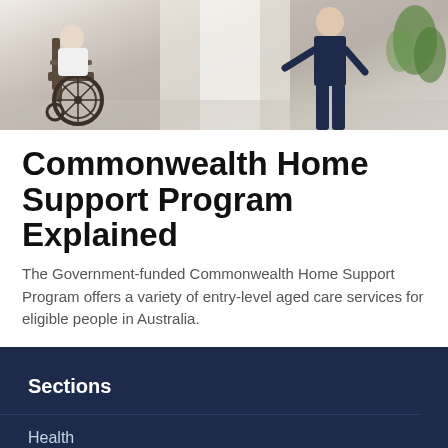[Figure (photo): Photo showing a wheelchair and a person in dark clothing, suggesting aged care or disability support services.]
Commonwealth Home Support Program Explained
The Government-funded Commonwealth Home Support Program offers a variety of entry-level aged care services for eligible people in Australia.
Sections
Health
Travel
Retirement